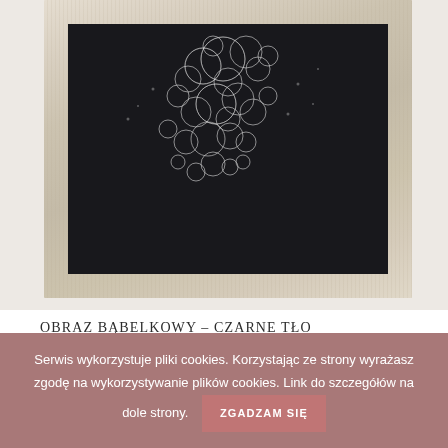[Figure (photo): A framed artwork with a distressed white wooden frame hanging on a light beige wall. The artwork shows white foam or bubble patterns against a dark/black background.]
OBRAZ BĄBELKOWY – CZARNE TŁO
59,00 zł – 159,00 zł
Serwis wykorzystuje pliki cookies. Korzystając ze strony wyrażasz zgodę na wykorzystywanie plików cookies. Link do szczegółów na dole strony. ZGADZAM SIĘ